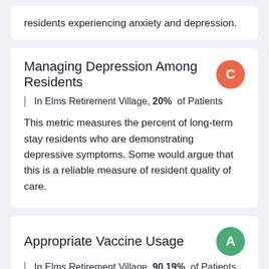residents experiencing anxiety and depression.
Managing Depression Among Residents
In Elms Retirement Village, 20% of Patients
This metric measures the percent of long-term stay residents who are demonstrating depressive symptoms. Some would argue that this is a reliable measure of resident quality of care.
Appropriate Vaccine Usage
In Elms Retirement Village, 90.19% of Patients
This datapoint measures the percentage of long-term residents that were vaccinated against